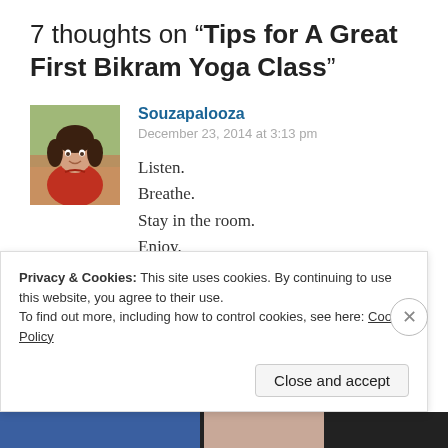7 thoughts on “Tips for A Great First Bikram Yoga Class”
[Figure (photo): Avatar photo of commenter Souzapalooza — woman in red shirt]
Souzapalooza
December 23, 2014 at 3:13 pm
Listen.
Breathe.
Stay in the room.
Enjoy.
🙂
Privacy & Cookies: This site uses cookies. By continuing to use this website, you agree to their use.
To find out more, including how to control cookies, see here: Cookie Policy
Close and accept